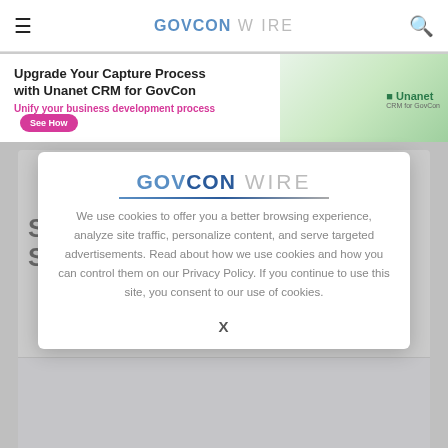GovConWire navigation bar with hamburger menu, logo, and search icon
[Figure (infographic): Banner advertisement: Upgrade Your Capture Process with Unanet CRM for GovCon. Unify your business development process. See How button. Unanet logo on right with green background and people image.]
[Figure (logo): GovConWire logo inside modal dialog]
We use cookies to offer you a better browsing experience, analyze site traffic, personalize content, and serve targeted advertisements. Read about how we use cookies and how you can control them on our Privacy Policy. If you continue to use this site, you consent to our use of cookies.